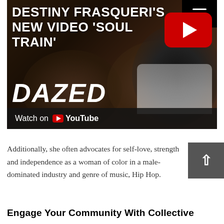[Figure (screenshot): YouTube video thumbnail for Destiny Frasqueri's 'Soul Train' on Dazed channel. Dark background with blurred figures, large white bold title text, red YouTube play button, hamburger menu icon, Dazed logo, and 'Watch on YouTube' bar at bottom.]
Additionally, she often advocates for self-love, strength and independence as a woman of color in a male-dominated industry and genre of music, Hip Hop.
Engage Your Community With Collective